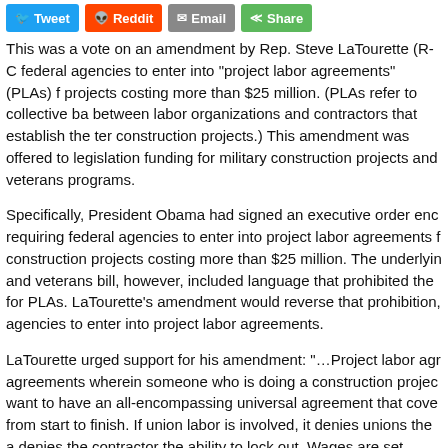[Figure (other): Social sharing buttons: Tweet (Twitter), Reddit, Email, Share]
This was a vote on an amendment by Rep. Steve LaTourette (R-C federal agencies to enter into “project labor agreements” (PLAs) f projects costing more than $25 million. (PLAs refer to collective ba between labor organizations and contractors that establish the ter construction projects.) This amendment was offered to legislation funding for military construction projects and veterans programs.
Specifically, President Obama had signed an executive order enc requiring federal agencies to enter into project labor agreements f construction projects costing more than $25 million. The underlyin and veterans bill, however, included language that prohibited the for PLAs. LaTourette’s amendment would reverse that prohibition, agencies to enter into project labor agreements.
LaTourette urged support for his amendment: “…Project labor agr agreements wherein someone who is doing a construction projec want to have an all-encompassing universal agreement that cove from start to finish. If union labor is involved, it denies unions the a denies the contractor the ability to lock out. Wages are set. Terms are set. And, quite frankly, the project labor agreements have bee